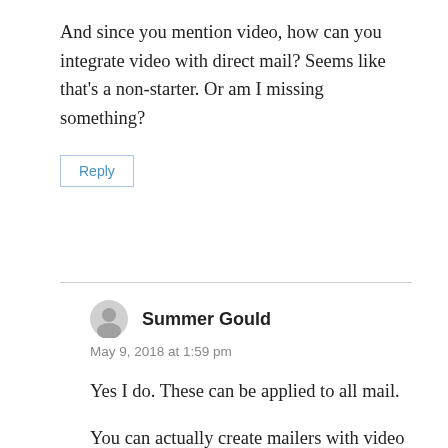And since you mention video, how can you integrate video with direct mail? Seems like that's a non-starter. Or am I missing something?
Reply
Summer Gould
May 9, 2018 at 1:59 pm
Yes I do. These can be applied to all mail.
You can actually create mailers with video screens embedded in them. They are rather expensive, but if you sell a more expensive